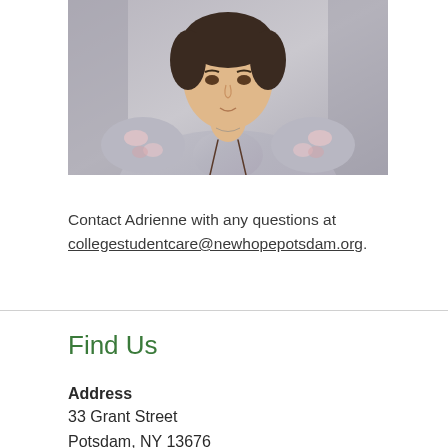[Figure (photo): Portrait photo of Adrienne, a woman in a floral and grey hoodie with drawstrings, photographed against a grey background]
Contact Adrienne with any questions at collegestudentcare@newhopepotsdam.org.
Find Us
Address
33 Grant Street
Potsdam, NY 13676
(315) 265-7094